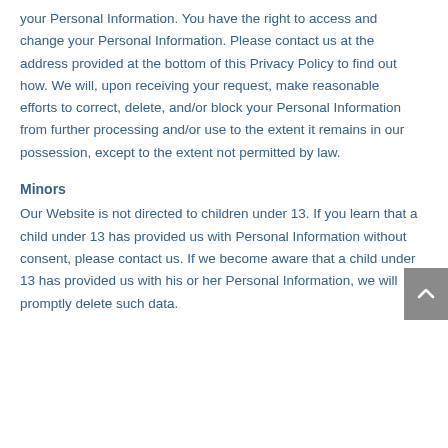your Personal Information. You have the right to access and change your Personal Information. Please contact us at the address provided at the bottom of this Privacy Policy to find out how. We will, upon receiving your request, make reasonable efforts to correct, delete, and/or block your Personal Information from further processing and/or use to the extent it remains in our possession, except to the extent not permitted by law.
Minors
Our Website is not directed to children under 13. If you learn that a child under 13 has provided us with Personal Information without consent, please contact us. If we become aware that a child under 13 has provided us with his or her Personal Information, we will promptly delete such data.